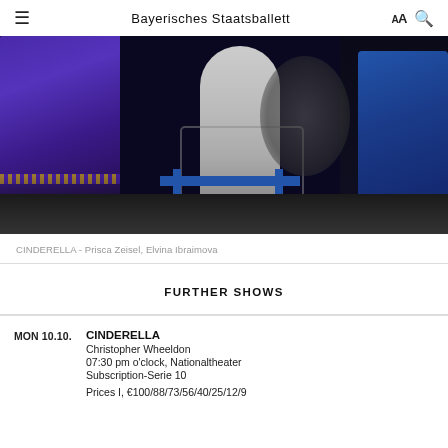Bayerisches Staatsballett
[Figure (photo): Ballet performance photo showing dancers on stage with blue and purple costumes and furniture, dark stage lighting]
CINDERELLA - Prisca Zeisel, Elvina Ibraimova
FURTHER SHOWS
CINDERELLA
Christopher Wheeldon
07:30 pm o'clock, Nationaltheater
Subscription-Serie 10

Prices I, €100/88/73/56/40/25/12/9
MON 10.10.